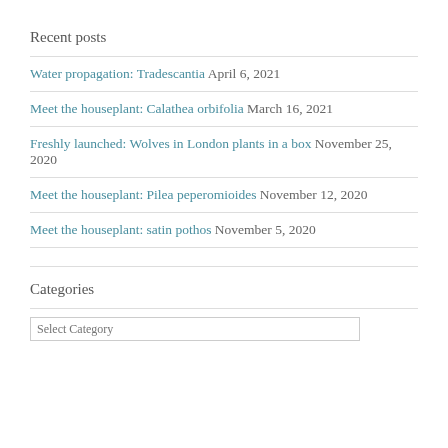Recent posts
Water propagation: Tradescantia April 6, 2021
Meet the houseplant: Calathea orbifolia March 16, 2021
Freshly launched: Wolves in London plants in a box November 25, 2020
Meet the houseplant: Pilea peperomioides November 12, 2020
Meet the houseplant: satin pothos November 5, 2020
Categories